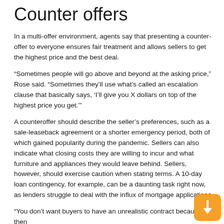Counter offers
In a multi-offer environment, agents say that presenting a counter-offer to everyone ensures fair treatment and allows sellers to get the highest price and the best deal.
“Sometimes people will go above and beyond at the asking price,” Rose said. “Sometimes they’ll use what’s called an escalation clause that basically says, ‘I’ll give you X dollars on top of the highest price you get.’”
A counteroffer should describe the seller’s preferences, such as a sale-leaseback agreement or a shorter emergency period, both of which gained popularity during the pandemic. Sellers can also indicate what closing costs they are willing to incur and what furniture and appliances they would leave behind. Sellers, however, should exercise caution when stating terms. A 10-day loan contingency, for example, can be a daunting task right now, as lenders struggle to deal with the influx of mortgage applications.
“You don’t want buyers to have an unrealistic contract because the